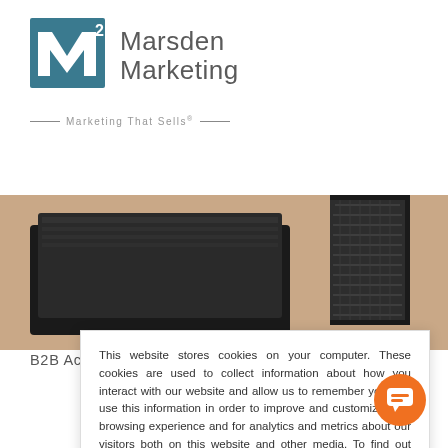[Figure (logo): Marsden Marketing M-squared logo with teal/blue M icon and grey text reading 'Marsden Marketing' with tagline 'Marketing That Sells']
[Figure (photo): Photo of a microphone and laptop on a desk with warm background, promoting B2B content]
B2B Acquisition Channels to Turn Prospects into
This website stores cookies on your computer. These cookies are used to collect information about how you interact with our website and allow us to remember you. We use this information in order to improve and customize your browsing experience and for analytics and metrics about our visitors both on this website and other media. To find out more about the cookies we use, see our Privacy Policy.
Accept